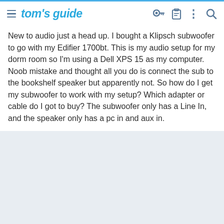tom's guide
New to audio just a head up. I bought a Klipsch subwoofer to go with my Edifier 1700bt. This is my audio setup for my dorm room so I'm using a Dell XPS 15 as my computer. Noob mistake and thought all you do is connect the sub to the bookshelf speaker but apparently not. So how do I get my subwoofer to work with my setup? Which adapter or cable do I got to buy? The subwoofer only has a Line In, and the speaker only has a pc in and aux in.